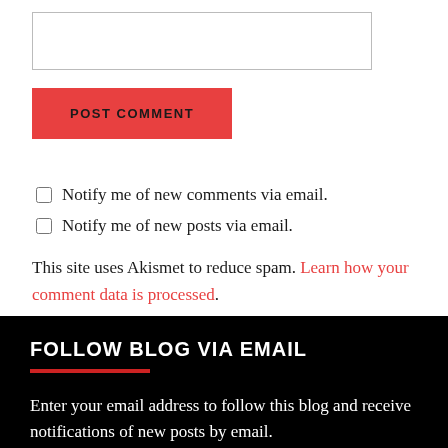[Figure (other): Empty text input box / comment field]
POST COMMENT
Notify me of new comments via email.
Notify me of new posts via email.
This site uses Akismet to reduce spam. Learn how your comment data is processed.
FOLLOW BLOG VIA EMAIL
Enter your email address to follow this blog and receive notifications of new posts by email.